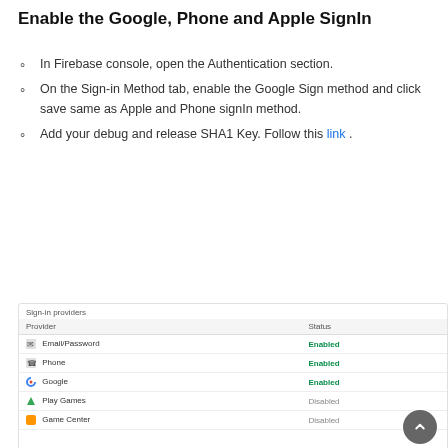Enable the Google, Phone and Apple SignIn
In Firebase console, open the Authentication section.
On the Sign-in Method tab, enable the Google Sign method and click save same as Apple and Phone signIn method.
Add your debug and release SHA1 Key. Follow this link .
[Figure (screenshot): Firebase console Sign-in providers panel showing Email/Password (Enabled), Phone (Enabled), Google (Enabled), Play Games (Disabled), Game Center (Disabled) providers with their statuses.]